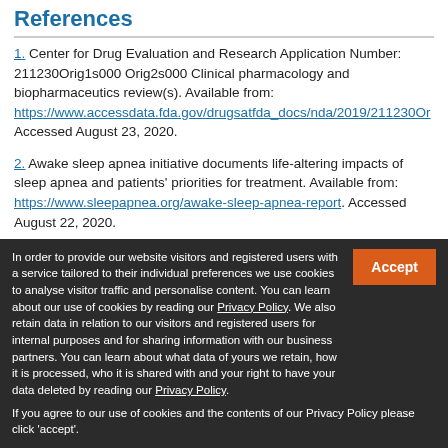References
1. Center for Drug Evaluation and Research Application Number: 211230Orig1s000 Orig2s000 Clinical pharmacology and biopharmaceutics review(s). Available from: https://www.accessdata.fda.gov/drugsatfda_docs/nda/2019/211230Or... Accessed August 23, 2020.
2. Awake sleep apnea initiative documents life-altering impacts of sleep apnea and patients' priorities for treatment. Available from: https://www.sleepapnea.org/awake-sleep-apnea-report. Accessed August 22, 2020.
3. Raggi A, Plazzi G, Ferri R. Health-related quality of life in...
In order to provide our website visitors and registered users with a service tailored to their individual preferences we use cookies to analyse visitor traffic and personalise content. You can learn about our use of cookies by reading our Privacy Policy. We also retain data in relation to our visitors and registered users for internal purposes and for sharing information with our business partners. You can learn about what data of yours we retain, how it is processed, who it is shared with and your right to have your data deleted by reading our Privacy Policy. If you agree to our use of cookies and the contents of our Privacy Policy please click 'accept'.